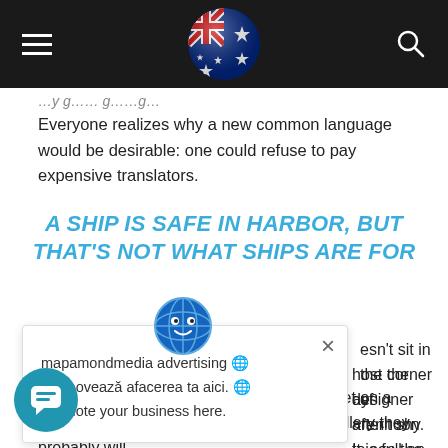Navigation bar with hamburger menu, Australian flag, and search icon
Everyone realizes why a new common language would be desirable: one could refuse to pay expensive translators.
A SHIP IS SAFE IN HARBOR, BUT THAT'S NOT WHAT SHIPS ARE FOR
...esn't sit in the corner of ...host the designer ...ay afternoon to see the ...aren't shy. It is full-on
[Figure (other): Popup ad overlay with globe icon, close button, and text: mapamondmedia advertising. Promovează afacerea ta aici. Promote your business here.]
...n't necessarily wear them to the supermarket on a ...day morning with the kids, but with my jewellery they probably will.